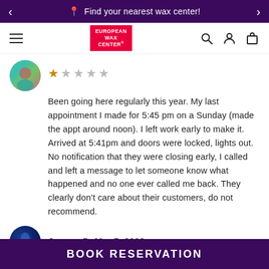Find your nearest wax center!
[Figure (logo): European Wax Center logo — red rectangle with white text]
[Figure (photo): Circular avatar of first reviewer — woman with dark hair, teal top]
★☆☆☆☆ (1 out of 5 stars)
Been going here regularly this year. My last appointment I made for 5:45 pm on a Sunday (made the appt around noon). I left work early to make it. Arrived at 5:41pm and doors were locked, lights out. No notification that they were closing early, I called and left a message to let someone know what happened and no one ever called me back. They clearly don't care about their customers, do not recommend.
[Figure (photo): Circular avatar of Jovana D — dark blue swirling design]
Jovana D, Mar 5, 2022
★★★★★ (5 out of 5 stars)
BOOK RESERVATION